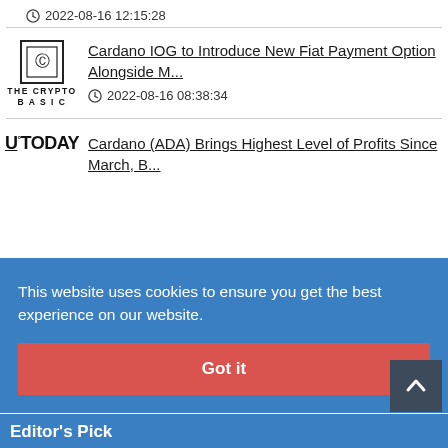2022-08-16 12:15:28
Cardano IOG to Introduce New Fiat Payment Option Alongside M...
2022-08-16 08:38:34
Cardano (ADA) Brings Highest Level of Profits Since March, B...
This website uses cookies to ensure you get the best experience on our website.
Got it
Editor's Pick